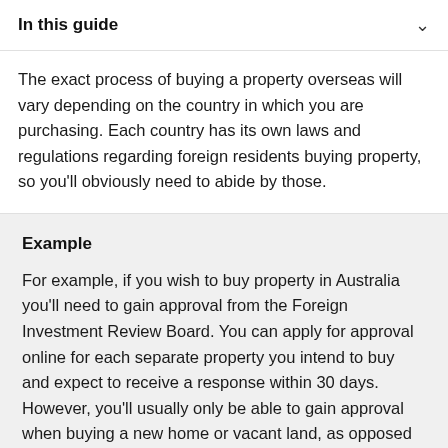In this guide
The exact process of buying a property overseas will vary depending on the country in which you are purchasing. Each country has its own laws and regulations regarding foreign residents buying property, so you'll obviously need to abide by those.
Example
For example, if you wish to buy property in Australia you'll need to gain approval from the Foreign Investment Review Board. You can apply for approval online for each separate property you intend to buy and expect to receive a response within 30 days. However, you'll usually only be able to gain approval when buying a new home or vacant land, as opposed to an already established home.